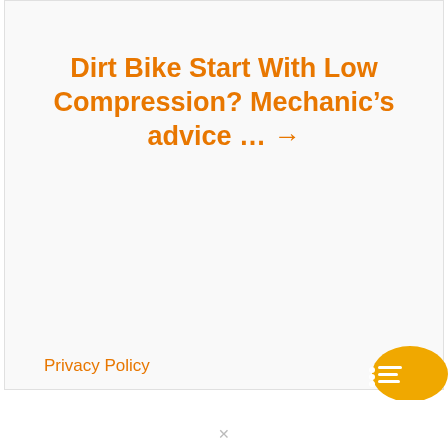[Figure (photo): Dirt/sand texture background strip at top of page]
Dirt Bike Start With Low Compression? Mechanic's advice … →
Privacy Policy
[Figure (other): Orange chat/list bubble icon in bottom right area]